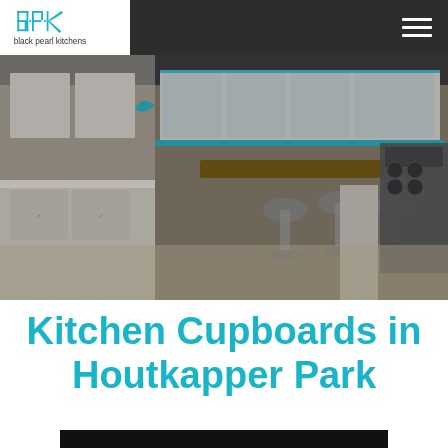[Figure (logo): Black Pearl Kitchens logo with stylized BPK letters in teal/cyan and text 'black pearl kitchens' below]
[Figure (photo): Kitchen showroom photo showing modern white kitchen cupboards with bar stools around a wooden island counter, professional range cooker on the right, illuminated glass-front upper cabinets with blue LED lighting]
Kitchen Cupboards in Houtkapper Park
[Figure (photo): Dark/black rectangular area at bottom, appears to be a video thumbnail or image placeholder]